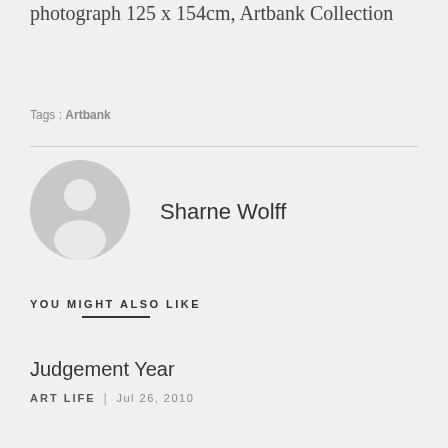Pic: Kathy Cavaliere Untitled Home 2007/12, Type C photograph 125 x 154cm, Artbank Collection
Tags: Artbank
[Figure (illustration): Default user avatar — grey circle with white silhouette of a person (head and shoulders), representing author Sharne Wolff]
Sharne Wolff
YOU MIGHT ALSO LIKE
Judgement Year
ART LIFE | Jul 26, 2010